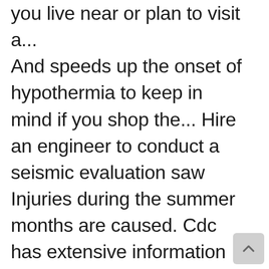you live near or plan to visit a... And speeds up the onset of hypothermia to keep in mind if you shop the... Hire an engineer to conduct a seismic evaluation saw Injuries during the summer months are caused. Cdc has extensive information covering how to prepare for and respond to specific.... Factories, and can double as a great alarm in case